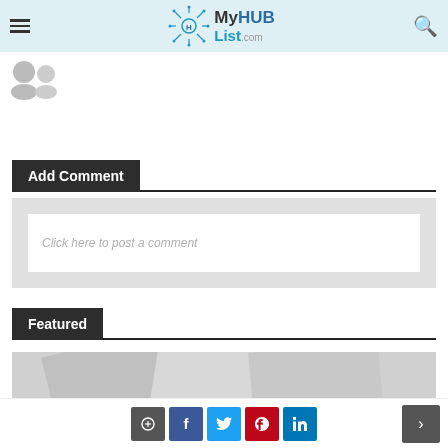MyHUBList.com
[Figure (illustration): User avatar / quote icon placeholder]
Add Comment
Click here to post a comment
Featured
[Figure (photo): Featured image placeholder showing paper/document background]
Social sharing buttons: comment, Facebook, Twitter, Pinterest, LinkedIn; Next navigation button